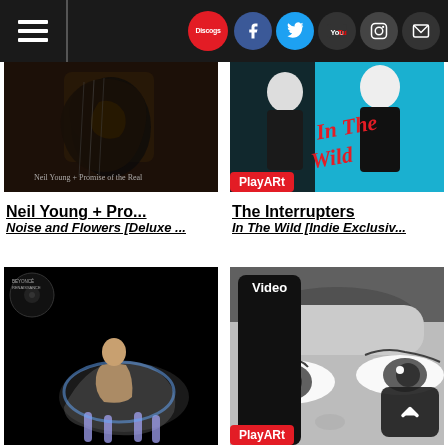Discogs navigation header with hamburger menu and social icons: Discogs, Facebook, Twitter, YouTube, Instagram, Mail
[Figure (photo): Album cover: Neil Young + Promise of the Real - dark guitar image]
[Figure (photo): Album cover: The Interrupters - In The Wild, blue/black graphic with red text, PlayARt badge]
Neil Young + Pro...
The Interrupters
Noise and Flowers [Deluxe ...
In The Wild [Indie Exclusiv...
[Figure (photo): Album cover: Beyoncé - Renaissance, figure on horse]
[Figure (photo): Black and white close-up portrait, Video badge, PlayARt badge, scroll-to-top button]